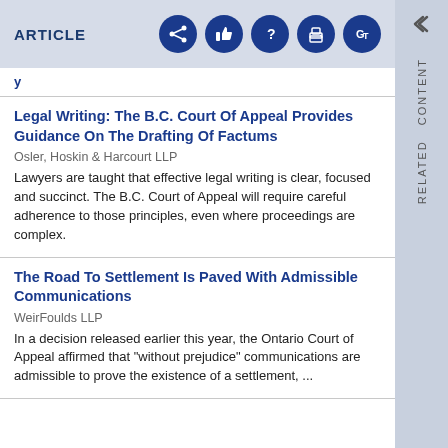ARTICLE
y
Legal Writing: The B.C. Court Of Appeal Provides Guidance On The Drafting Of Factums
Osler, Hoskin & Harcourt LLP
Lawyers are taught that effective legal writing is clear, focused and succinct. The B.C. Court of Appeal will require careful adherence to those principles, even where proceedings are complex.
The Road To Settlement Is Paved With Admissible Communications
WeirFoulds LLP
In a decision released earlier this year, the Ontario Court of Appeal affirmed that "without prejudice" communications are admissible to prove the existence of a settlement, ...